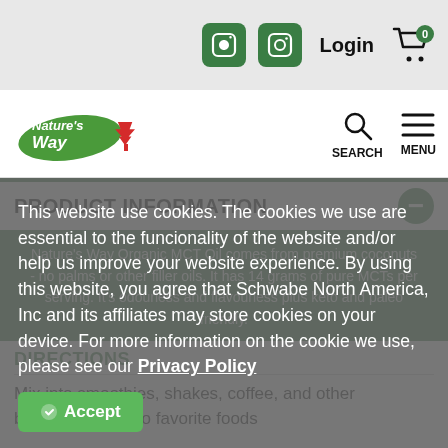Login  0
[Figure (logo): Nature's Way logo with green leaf and Canadian maple leaf]
PRODUCT INFORMATION
Nature's Way Organic MCT Oil comes from premium coconuts - no palms or other filler oils. It has 14 grams of pure MCTs per serving. It's odourless and flavourless plus keto and paleo friendly.
This website use cookies. The cookies we use are essential to the funcionality of the website and/or help us improve your website experience. By using this website, you agree that Schwabe North America, Inc and its affiliates may store cookies on your device. For more information on the cookie we use, please see our Privacy Policy
DIRECTIONS
Mix into smoothies, shakes, coffee, and other beverages. Add to favorite foods